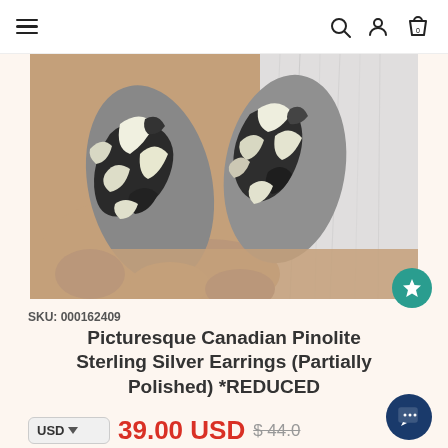≡  🔍 👤 🛍 0
[Figure (photo): Hand holding two oval-shaped Picturesque Canadian Pinolite stones with black and white patterning, against a white fur background.]
SKU: 000162409
Picturesque Canadian Pinolite Sterling Silver Earrings (Partially Polished) *REDUCED
USD ▼  39.00 USD  $44.00 (strikethrough)